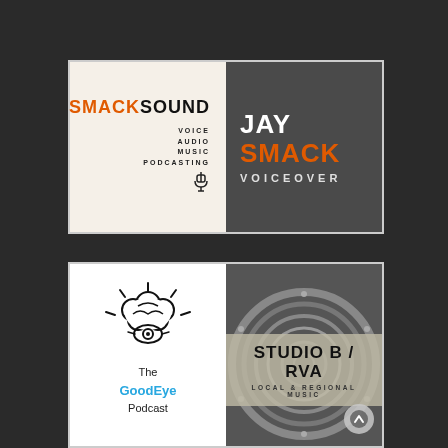[Figure (logo): SmackSound logo — left half cream background with SMACK in orange and SOUND in black, subtitles VOICE AUDIO MUSIC PODCASTING and a microphone icon]
[Figure (logo): Jay Smack Voiceover logo — dark grey background with JAY in white and SMACK in orange bold, VOICEOVER in spaced white letters below]
[Figure (logo): The GoodEye Podcast logo — white background, brain/eye icon, text: The GoodEye Podcast]
[Figure (logo): Studio B / RVA Local & Regional Music logo — dark background with speaker cone, tan overlay band with STUDIO B / RVA and LOCAL & REGIONAL MUSIC text]